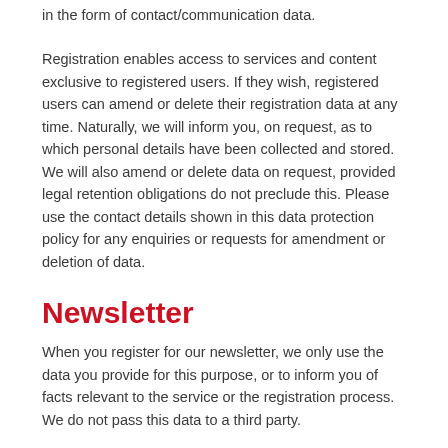in the form of contact/communication data.
Registration enables access to services and content exclusive to registered users. If they wish, registered users can amend or delete their registration data at any time. Naturally, we will inform you, on request, as to which personal details have been collected and stored. We will also amend or delete data on request, provided legal retention obligations do not preclude this. Please use the contact details shown in this data protection policy for any enquiries or requests for amendment or deletion of data.
Newsletter
When you register for our newsletter, we only use the data you provide for this purpose, or to inform you of facts relevant to the service or the registration process. We do not pass this data to a third party.
To receive the newsletter, a valid email address is required. The IP address from which you register for the newsletter and the date of the order are also stored. This data allows